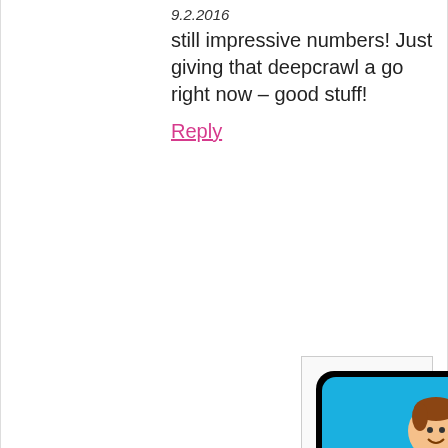9.2.2016
still impressive numbers! Just giving that deepcrawl a go right now – good stuff!
Reply
[Figure (illustration): Matthew Woodward avatar logo: cartoon man with laptop on blue background with black rounded border and 'MatthewWoodward.co.uk' text]
Matthew Woodward
September 5th, 2016 at 9:02 am
Yeah it's a great tool!
Reply